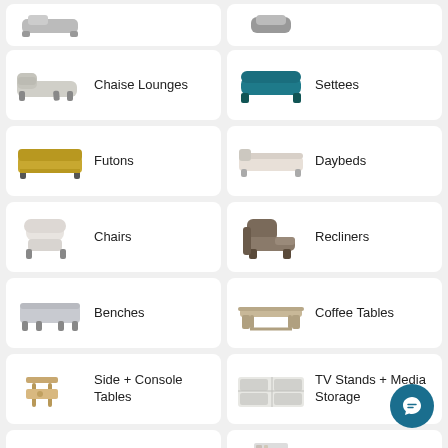Chaise Lounges
Settees
Futons
Daybeds
Chairs
Recliners
Benches
Coffee Tables
Side + Console Tables
TV Stands + Media Storage
Cabinets + Chests
Bookcases